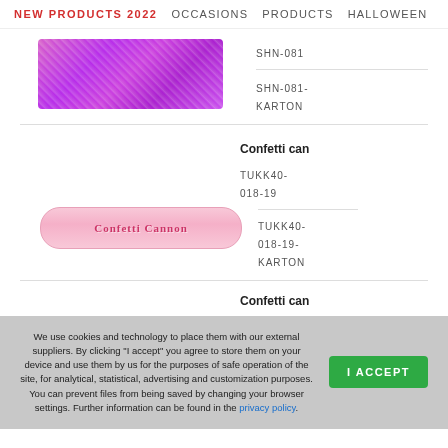NEW PRODUCTS 2022   OCCASIONS   PRODUCTS   HALLOWEEN
[Figure (photo): Purple glitter/holographic ribbon roll product image]
SHN-081
SHN-081-KARTON
Confetti can
TUKK40-018-19
[Figure (photo): Pink confetti cannon product labeled 'Confetti Cannon']
TUKK40-018-19-KARTON
Confetti can
We use cookies and technology to place them with our external suppliers. By clicking "I accept" you agree to store them on your device and use them by us for the purposes of safe operation of the site, for analytical, statistical, advertising and customization purposes. You can prevent files from being saved by changing your browser settings. Further information can be found in the privacy policy.